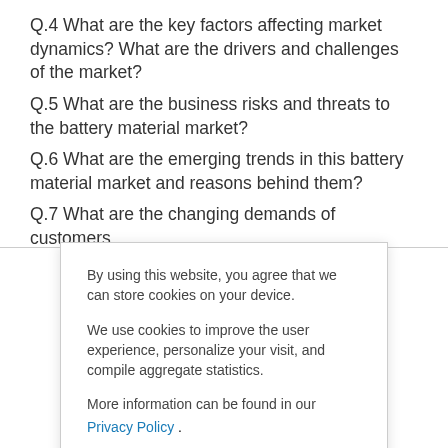Q.4 What are the key factors affecting market dynamics? What are the drivers and challenges of the market?
Q.5 What are the business risks and threats to the battery material market?
Q.6 What are the emerging trends in this battery material market and reasons behind them?
Q.7 What are the changing demands of customers
By using this website, you agree that we can store cookies on your device.
We use cookies to improve the user experience, personalize your visit, and compile aggregate statistics.
More information can be found in our
Privacy Policy .
Accept
Decline